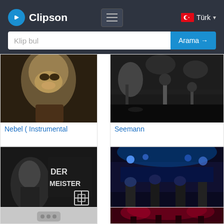Clipson — Klip bul / Arama → / Türk
[Figure (screenshot): Thumbnail of Nebel (Instrumental): close-up face, golden/dark tones]
Nebel ( Instrumental
[Figure (screenshot): Thumbnail of Seemann: black and white photo of person at waterfront at night]
Seemann
[Figure (screenshot): Thumbnail of Der Meister: dark image with text DER MEISTER and Rammstein logo]
Der Meister
[Figure (screenshot): Thumbnail of Bayern des Samma: concert stage with blue lights]
Bayern des Samma
[Figure (screenshot): Thumbnail placeholder with three dots (video unavailable)]
[Figure (screenshot): Thumbnail of concert with red stage lighting]